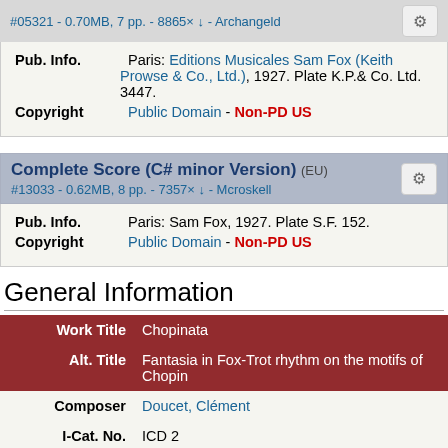#05321 - 0.70MB, 7 pp. - 8865× ↓ - Archangeld
Pub. Info. Paris: Editions Musicales Sam Fox (Keith Prowse & Co., Ltd.), 1927. Plate K.P.& Co. Ltd. 3447.
Copyright Public Domain - Non-PD US
Complete Score (C# minor Version) (EU)
#13033 - 0.62MB, 8 pp. - 7357× ↓ - Mcroskell
Pub. Info. Paris: Sam Fox, 1927. Plate S.F. 152.
Copyright Public Domain - Non-PD US
General Information
| Label | Value |
| --- | --- |
| Work Title | Chopinata |
| Alt. Title | Fantasia in Fox-Trot rhythm on the motifs of Chopin |
| Composer | Doucet, Clément |
| I-Cat. No. | ICD 2 |